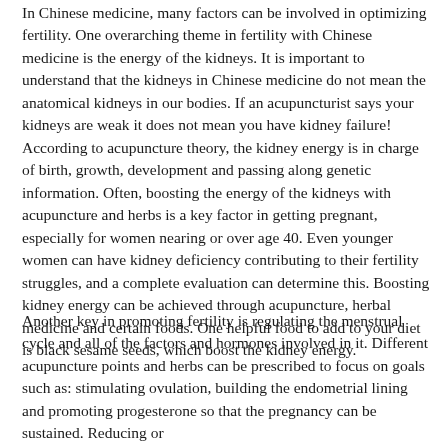In Chinese medicine, many factors can be involved in optimizing fertility. One overarching theme in fertility with Chinese medicine is the energy of the kidneys. It is important to understand that the kidneys in Chinese medicine do not mean the anatomical kidneys in our bodies. If an acupuncturist says your kidneys are weak it does not mean you have kidney failure! According to acupuncture theory, the kidney energy is in charge of birth, growth, development and passing along genetic information. Often, boosting the energy of the kidneys with acupuncture and herbs is a key factor in getting pregnant, especially for women nearing or over age 40. Even younger women can have kidney deficiency contributing to their fertility struggles, and a complete evaluation can determine this. Boosting kidney energy can be achieved through acupuncture, herbal medicine and certain foods. One helpful food to add to your diet is black sesame seeds, which boost the kidney energy.
Another key in promoting fertility is regulating the menstrual cycle and all of the factors and hormones involved in it. Different acupuncture points and herbs can be prescribed to focus on goals such as: stimulating ovulation, building the endometrial lining and promoting progesterone so that the pregnancy can be sustained. Reducing or